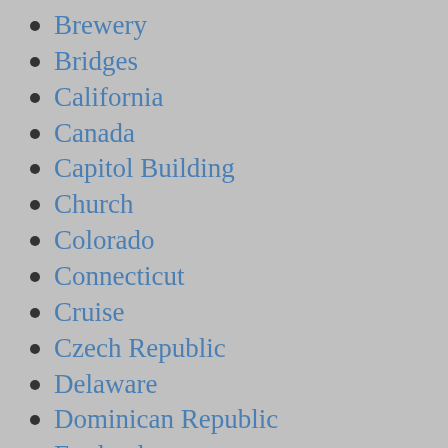Brewery
Bridges
California
Canada
Capitol Building
Church
Colorado
Connecticut
Cruise
Czech Republic
Delaware
Dominican Republic
England
Europe
Farmer's Market
Festival